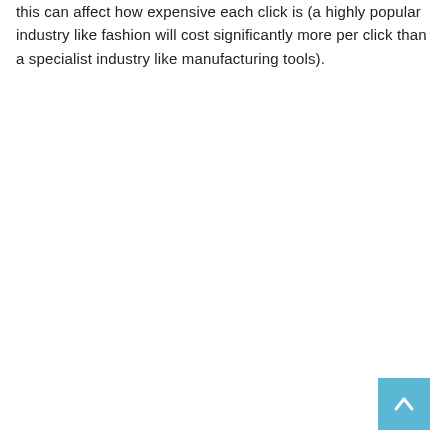this can affect how expensive each click is (a highly popular industry like fashion will cost significantly more per click than a specialist industry like manufacturing tools).